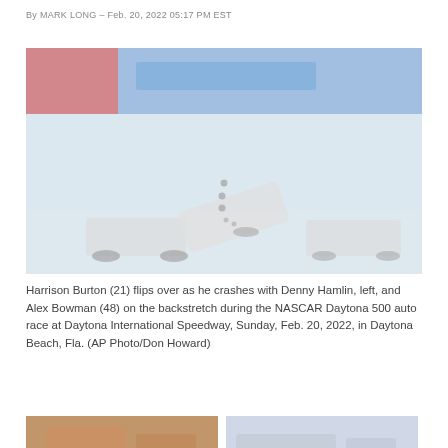By MARK LONG – Feb. 20, 2022 05:17 PM EST
[Figure (photo): Harrison Burton (21) racing car flipping during a crash with Denny Hamlin and Alex Bowman (48) on the backstretch during the NASCAR Daytona 500 at Daytona International Speedway. Image appears partially loaded with a loading spinner visible.]
Harrison Burton (21) flips over as he crashes with Denny Hamlin, left, and Alex Bowman (48) on the backstretch during the NASCAR Daytona 500 auto race at Daytona International Speedway, Sunday, Feb. 20, 2022, in Daytona Beach, Fla. (AP Photo/Don Howard)
[Figure (photo): Two partial images at the bottom of the page showing additional race scenes from the NASCAR Daytona 500.]